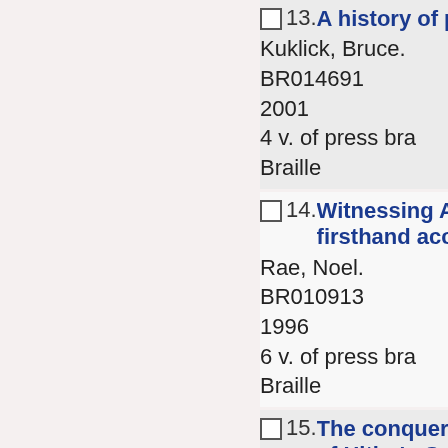13. A history of phi... Kuklick, Bruce. BR014691 2001 4 v. of press bra... Braille
14. Witnessing Am... firsthand accou... Rae, Noel. BR010913 1996 6 v. of press bra... Braille
15. The conquerors... of Hitler's Germ... Beschloss, Mich... BR014533 2002 4 v. of press bra...